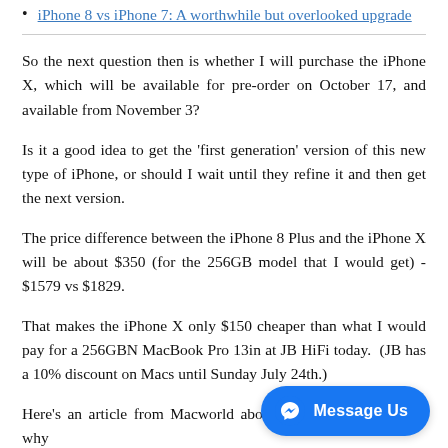iPhone 8 vs iPhone 7: A worthwhile but overlooked upgrade
So the next question then is whether I will purchase the iPhone X, which will be available for pre-order on October 17, and available from November 3?
Is it a good idea to get the 'first generation' version of this new type of iPhone, or should I wait until they refine it and then get the next version.
The price difference between the iPhone 8 Plus and the iPhone X will be about $350 (for the 256GB model that I would get) - $1579 vs $1829.
That makes the iPhone X only $150 cheaper than what I would pay for a 256GBN MacBook Pro 13in at JB HiFi today.  (JB has a 10% discount on Macs until Sunday July 24th.)
Here's an article from Macworld about these two phones, and why